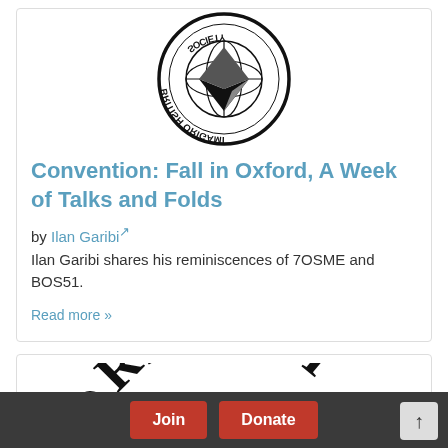[Figure (logo): British Origami Society circular logo, shown upside-down/mirrored, black and white with geometric origami crane design]
Convention: Fall in Oxford, A Week of Talks and Folds
by Ilan Garibi (external link)
Ilan Garibi shares his reminiscences of 7OSME and BOS51.
Read more »
[Figure (logo): Origami USA or similar origami society circular logo, partially visible, showing the word ORIGAMI in arc at top]
Join  Donate